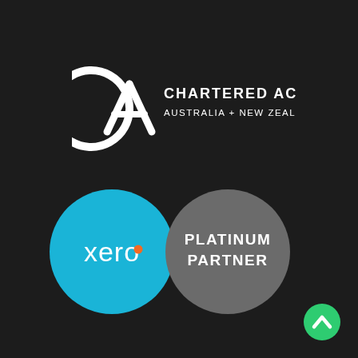[Figure (logo): Chartered Accountants Australia + New Zealand logo: CA monogram in white on dark background with text CHARTERED ACCOUNTANTS / AUSTRALIA + NEW ZEALAND]
[Figure (logo): Xero Platinum Partner logo: two circles side by side on dark background. Left circle is teal/cyan with 'xero' text and orange dot. Right circle is grey with 'PLATINUM PARTNER' text in white.]
[Figure (logo): Small green circle with white upward chevron arrow in bottom right corner]